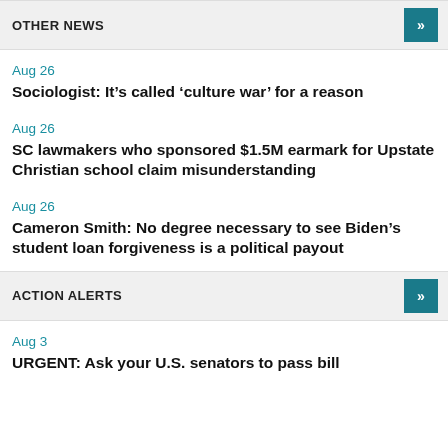OTHER NEWS
Aug 26
Sociologist: It’s called ‘culture war’ for a reason
Aug 26
SC lawmakers who sponsored $1.5M earmark for Upstate Christian school claim misunderstanding
Aug 26
Cameron Smith: No degree necessary to see Biden’s student loan forgiveness is a political payout
ACTION ALERTS
Aug 3
URGENT: Ask your U.S. senators to pass bill